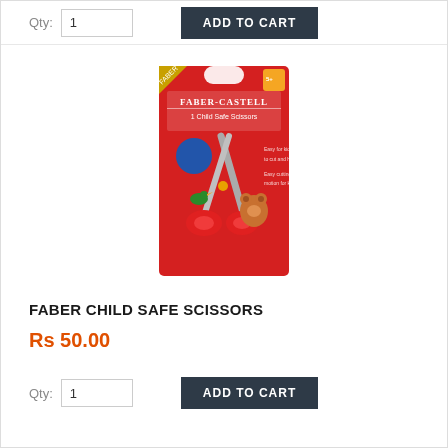Qty: 1
ADD TO CART
[Figure (photo): Faber-Castell Child Safe Scissors in red retail packaging, showing scissors with red handles and child-friendly decorative elements including a bird and bear. Blue ball visible at top of packaging. Brand name and product name displayed on package.]
FABER CHILD SAFE SCISSORS
Rs 50.00
Qty: 1
ADD TO CART